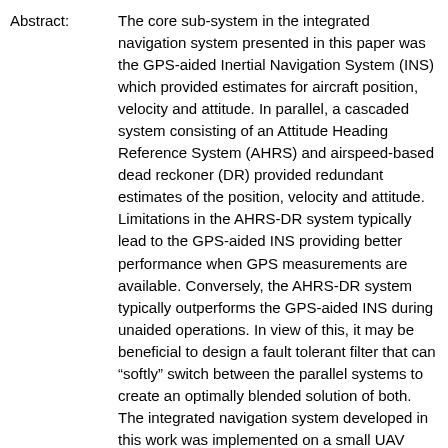Abstract: The core sub-system in the integrated navigation system presented in this paper was the GPS-aided Inertial Navigation System (INS) which provided estimates for aircraft position, velocity and attitude. In parallel, a cascaded system consisting of an Attitude Heading Reference System (AHRS) and airspeed-based dead reckoner (DR) provided redundant estimates of the position, velocity and attitude. Limitations in the AHRS-DR system typically lead to the GPS-aided INS providing better performance when GPS measurements are available. Conversely, the AHRS-DR system typically outperforms the GPS-aided INS during unaided operations. In view of this, it may be beneficial to design a fault tolerant filter that can “softly” switch between the parallel systems to create an optimally blended solution of both. The integrated navigation system developed in this work was implemented on a small UAV flight control system, and three flight environments were tested to characterize the performance. Flight data analysis illustrated that this system is capable providing accurate state estimation even in